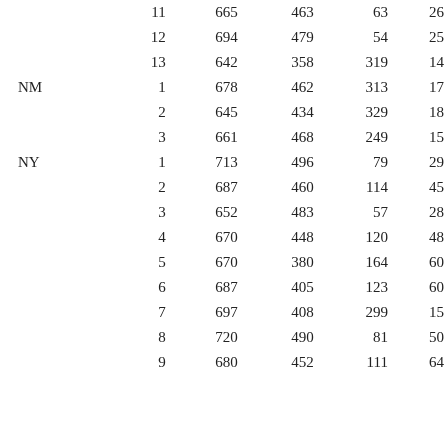| State | District | Col1 | Col2 | Col3 | Col4 |
| --- | --- | --- | --- | --- | --- |
|  | 11 | 665 | 463 | 63 | 26 |
|  | 12 | 694 | 479 | 54 | 25 |
|  | 13 | 642 | 358 | 319 | 14 |
| NM | 1 | 678 | 462 | 313 | 17 |
|  | 2 | 645 | 434 | 329 | 18 |
|  | 3 | 661 | 468 | 249 | 15 |
| NY | 1 | 713 | 496 | 79 | 29 |
|  | 2 | 687 | 460 | 114 | 45 |
|  | 3 | 652 | 483 | 57 | 28 |
|  | 4 | 670 | 448 | 120 | 48 |
|  | 5 | 670 | 380 | 164 | 60 |
|  | 6 | 687 | 405 | 123 | 60 |
|  | 7 | 697 | 408 | 299 | 15 |
|  | 8 | 720 | 490 | 81 | 50 |
|  | 9 | 680 | 452 | 111 | 64 |